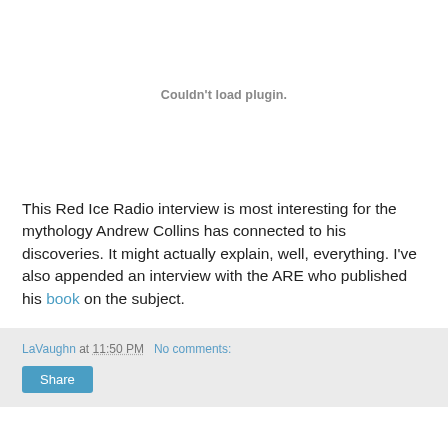[Figure (other): Embedded media plugin area showing 'Couldn't load plugin.' message]
This Red Ice Radio interview is most interesting for the mythology Andrew Collins has connected to his discoveries. It might actually explain, well, everything. I've also appended an interview with the ARE who published his book on the subject.
LaVaughn at 11:50 PM   No comments:   Share